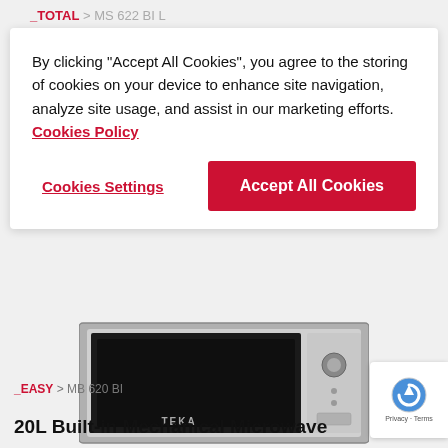_TOTAL > MS 622 BI L
By clicking “Accept All Cookies”, you agree to the storing of cookies on your device to enhance site navigation, analyze site usage, and assist in our marketing efforts.  Cookies Policy
Cookies Settings
Accept All Cookies
[Figure (photo): TEKA built-in microwave oven with stainless steel frame, black glass door, and rotary knob controls]
_EASY > MB 620 BI
20L Built-in Mechanical Microwave